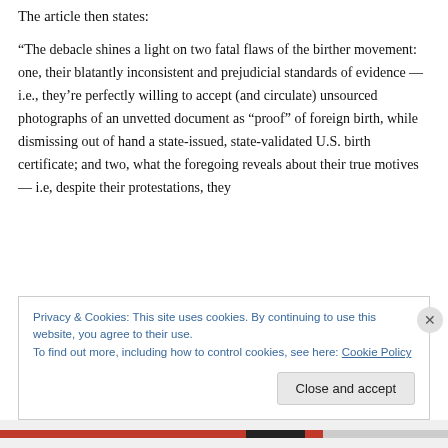The article then states:
“The debacle shines a light on two fatal flaws of the birther movement: one, their blatantly inconsistent and prejudicial standards of evidence — i.e., they’re perfectly willing to accept (and circulate) unsourced photographs of an unvetted document as “proof” of foreign birth, while dismissing out of hand a state-issued, state-validated U.S. birth certificate; and two, what the foregoing reveals about their true motives — i.e, despite their protestations, they
Privacy & Cookies: This site uses cookies. By continuing to use this website, you agree to their use.
To find out more, including how to control cookies, see here: Cookie Policy